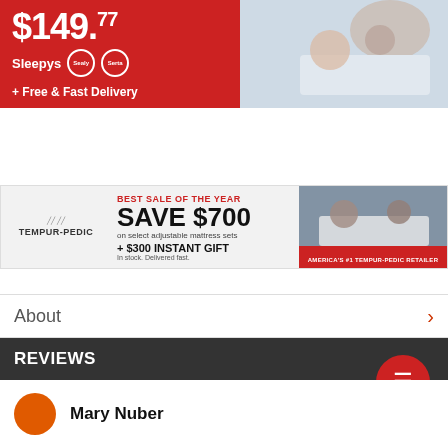[Figure (infographic): Red advertisement banner showing '$149.77' price with Sleepys, Sealy, Serta brand logos and '+ Free & Fast Delivery' text on left, couple on bed photo on right]
[Figure (infographic): Tempur-Pedic advertisement on grey background: 'BEST SALE OF THE YEAR SAVE $700 on select adjustable mattress sets + $300 INSTANT GIFT In stock. Delivered fast.' with couple on mattress photo and 'AMERICA'S #1 TEMPUR-PEDIC RETAILER' red bar]
About
REVIEWS
Mary Nuber